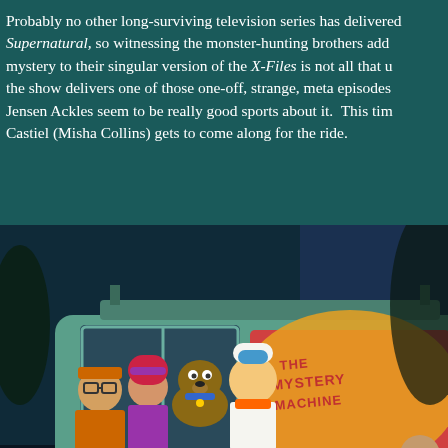Probably no other long-surviving television series has delivered... Supernatural, so witnessing the monster-hunting brothers add mystery to their singular version of the X-Files is not all that unexpected when the show delivers one of those one-off, strange, meta episodes... Jensen Ackles seem to be really good sports about it. This time, Castiel (Misha Collins) gets to come along for the ride.
[Figure (illustration): Animated scene showing the Scooby-Doo gang (Velma, Daphne, Shaggy, Scooby-Doo, Fred) looking out from the Mystery Machine van, which has its logo visible on the side. The scene appears dark/nighttime with blue tones.]
[Figure (other): DuckDuckGo advertisement on orange background. Text reads: Search, browse, and email with more privacy. All in One Free App. Features a phone mockup with the DuckDuckGo duck logo and the text DuckDuckGo.]